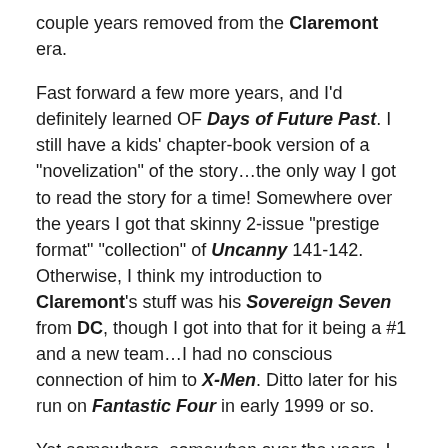couple years removed from the Claremont era.
Fast forward a few more years, and I’d definitely learned OF Days of Future Past. I still have a kids’ chapter-book version of a "novelization" of the story…the only way I got to read the story for a time! Somewhere over the years I got that skinny 2-issue "prestige format" "collection" of Uncanny 141-142. Otherwise, I think my introduction to Claremont’s stuff was his Sovereign Seven from DC, though I got into that for it being a #1 and a new team…I had no conscious connection of him to X-Men. Ditto later for his run on Fantastic Four in early 1999 or so.
Yet somewhere, somewhen over the years, I made the conscious connection. And came to recognize his run for what it was, and its grand import to comics, and the X-Men, and so on. And some of that probably runs up right